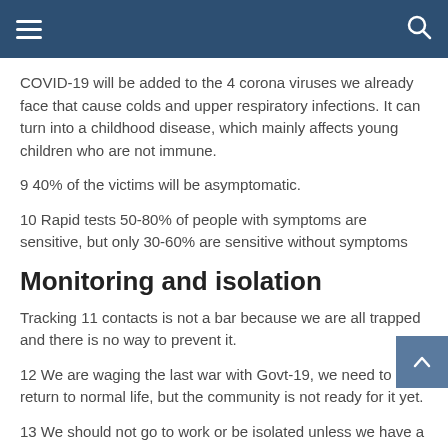Navigation header with menu and search icons
COVID-19 will be added to the 4 corona viruses we already face that cause colds and upper respiratory infections. It can turn into a childhood disease, which mainly affects young children who are not immune.
9 40% of the victims will be asymptomatic.
10 Rapid tests 50-80% of people with symptoms are sensitive, but only 30-60% are sensitive without symptoms
Monitoring and isolation
Tracking 11 contacts is not a bar because we are all trapped and there is no way to prevent it.
12 We are waging the last war with Govt-19, we need to return to normal life, but the community is not ready for it yet.
13 We should not go to work or be isolated unless we have a weakened immune system or are over 85 years of age.